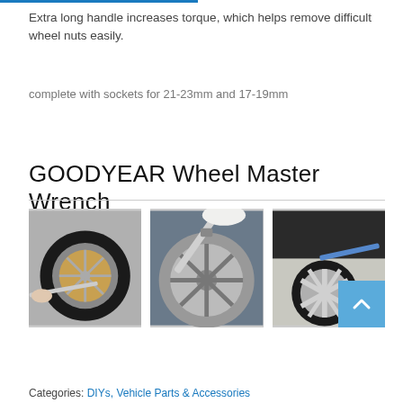Extra long handle increases torque, which helps remove difficult wheel nuts easily.
complete with sockets for 21-23mm and 17-19mm
GOODYEAR Wheel Master Wrench
[Figure (photo): Three photos of Goodyear Wheel Master Wrench being used on car wheels]
Categories: DIYs, Vehicle Parts & Accessories